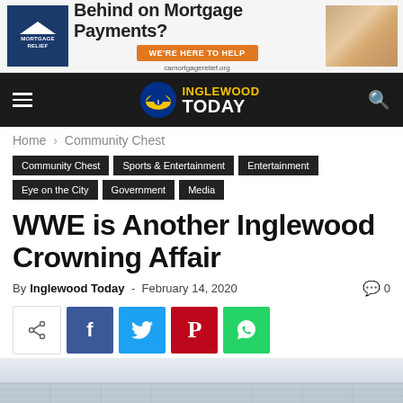[Figure (infographic): Advertisement banner for CA Mortgage Relief: 'Behind on Mortgage Payments? WE'RE HERE TO HELP camortgagerelief.org']
Inglewood Today — navigation header with hamburger menu and search icon
Home › Community Chest
Community Chest
Sports & Entertainment
Entertainment
Eye on the City
Government
Media
WWE is Another Inglewood Crowning Affair
By Inglewood Today - February 14, 2020   💬 0
[Figure (infographic): Social share buttons: share icon, Facebook, Twitter, Pinterest, WhatsApp]
[Figure (photo): Partial view of stadium or arena seating area at the bottom of the page]